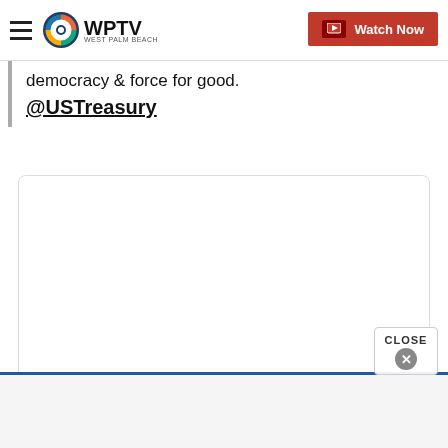WPTV Watch Now
democracy & force for good.
@USTreasury
[Figure (screenshot): Embedded media/tweet card box, white rectangle with rounded corners and light border, content not visible]
[Figure (other): Bottom advertisement bar, light gray background with blue top border]
CLOSE ×